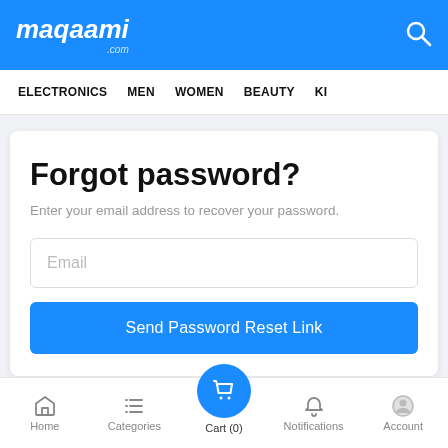maqaami.com
ELECTRONICS  MEN  WOMEN  BEAUTY  KI
Forgot password?
Enter your email address to recover your password.
Email
Send Password Reset Link
Home  Categories  Cart (0)  Notifications  Account